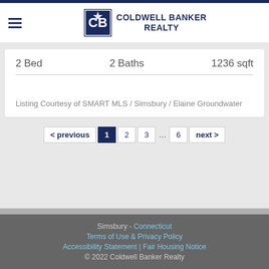Coldwell Banker Realty
2 Bed   2 Baths   1236 sqft
Listing Courtesy of SMART MLS / Simsbury / Elaine Groundwater
< previous  1  2  3  ...  6  next >
Simsbury - Connecticut  Terms of Use & Privacy Policy  Accessibility Statement | Fair Housing Notice  © 2022 Coldwell Banker Realty